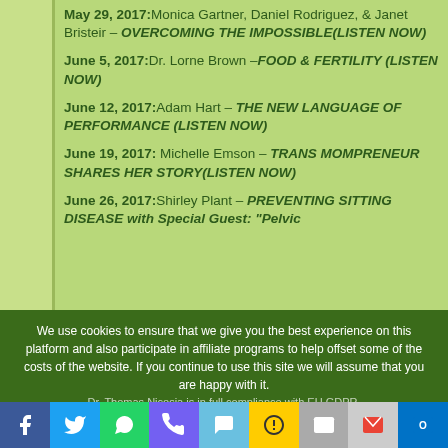May 29, 2017: Monica Gartner, Daniel Rodriguez, & Janet Bristeir – OVERCOMING THE IMPOSSIBLE(LISTEN NOW)
June 5, 2017: Dr. Lorne Brown – FOOD & FERTILITY (LISTEN NOW)
June 12, 2017: Adam Hart – THE NEW LANGUAGE OF PERFORMANCE (LISTEN NOW)
June 19, 2017: Michelle Emson – TRANS MOMPRENEUR SHARES HER STORY(LISTEN NOW)
June 26, 2017: Shirley Plant – PREVENTING SITTING DISEASE with Special Guest: "Pelvic
We use cookies to ensure that we give you the best experience on this platform and also participate in affiliate programs to help offset some of the costs of the website. If you continue to use this site we will assume that you are happy with it. Dr. Thomas Nicosia is in full compliance with EU GDPR.